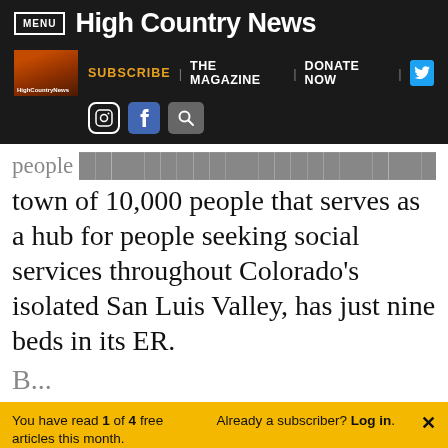MENU | High Country News
[Figure (screenshot): High Country News navigation bar with subscribe, the magazine, donate now links, Twitter, Instagram, Facebook and search icons]
people ... town of 10,000 people that serves as a hub for people seeking social services throughout Colorado's isolated San Luis Valley, has just nine beds in its ER.
You have read 1 of 4 free articles this month. Already a subscriber? Log in.
Support independent journalism. Subscribe